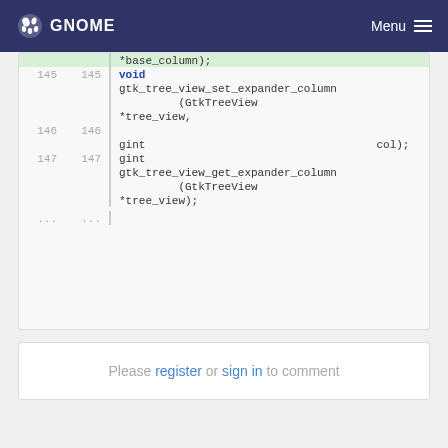GNOME  Menu
*base_column);
145 145  void
         gtk_tree_view_set_expander_column
                  (GtkTreeView
         *tree_view,
146 146
         gint                                   col);
147 147  gint
         gtk_tree_view_get_expander_column
                  (GtkTreeView
         *tree_view);
... ...
Please register or sign in to comment